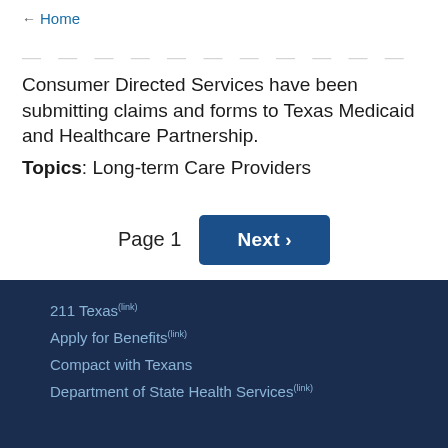← Home
Consumer Directed Services have been submitting claims and forms to Texas Medicaid and Healthcare Partnership.
Topics: Long-term Care Providers
Page 1  Next ›
211 Texas(link)
Apply for Benefits(link)
Compact with Texans
Department of State Health Services(link)